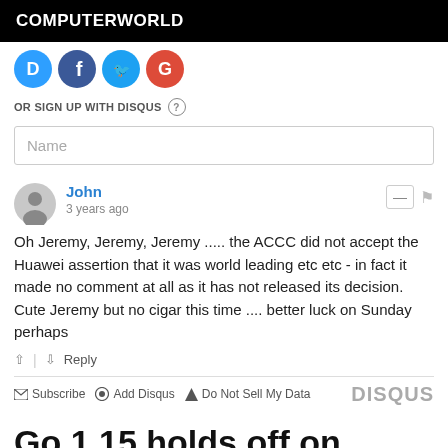COMPUTERWORLD
[Figure (logo): Social login icons: Disqus (blue D), Facebook (blue f), Twitter (blue bird), Google (red G)]
OR SIGN UP WITH DISQUS
Name
John
3 years ago
Oh Jeremy, Jeremy, Jeremy ..... the ACCC did not accept the Huawei assertion that it was world leading etc etc - in fact it made no comment at all as it has not released its decision. Cute Jeremy but no cigar this time .... better luck on Sunday perhaps
↑ | ↓ Reply
Subscribe  Add Disqus  Do Not Sell My Data  DISQUS
Go 1.15 holds off on major